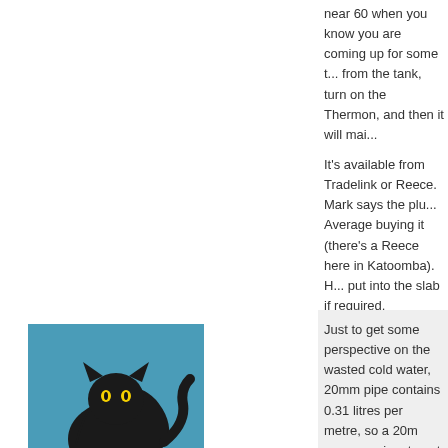near 60 when you know you are coming up for some time from the tank, turn on the Thermon, and then it will maintain...
It's available from Tradelink or Reece. Mark says the plumber average buying it (there's a Reece here in Katoomba). It can be put into the slab if required.
Posted Tuesday 12 Sep 2017 @ 4:42:32 am from IP #
[Figure (photo): Black cat with arched back avatar for user FenceFurniture]
FenceFurniture
Member
Just to get some perspective on the wasted cold water, 20mm pipe contains 0.31 litres per metre, so a 20m run requires to get it to 60°.
Posted Tuesday 12 Sep 2017 @ 5:07:53 am from IP #
[Figure (illustration): Diamond pattern placeholder avatar for user gazmo88]
gazmo88
Member
JJ,
No, not the main heat pump pump, but there is a seperate pump around a loop and back into the tank when the programme... and so taps are never far from hot water. The hot pipes controlled by the Daikin "brain" such that it only operates...
No idea how well it works yet, things still being tuned. T...